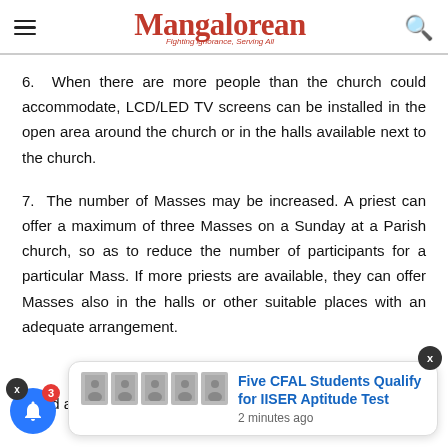Mangalorean — Fighting ignorance, Serving All
6. When there are more people than the church could accommodate, LCD/LED TV screens can be installed in the open area around the church or in the halls available next to the church.
7. The number of Masses may be increased. A priest can offer a maximum of three Masses on a Sunday at a Parish church, so as to reduce the number of participants for a particular Mass. If more priests are available, they can offer Masses also in the halls or other suitable places with an adequate arrangement.
Five CFAL Students Qualify for IISER Aptitude Test — 2 minutes ago
8. ...allow sufficient time between Masses for cleaning...